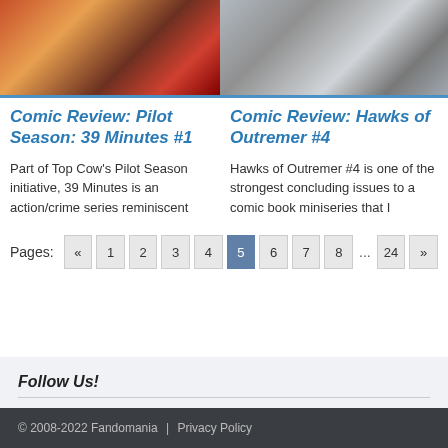[Figure (photo): Comic book cover image left - colorful action scene with red/orange tones]
[Figure (photo): Comic book cover image right - grey-toned scene with figures]
Comic Review: Pilot Season: 39 Minutes #1
Comic Review: Hawks of Outremer #4
Part of Top Cow's Pilot Season initiative, 39 Minutes is an action/crime series reminiscent
Hawks of Outremer #4 is one of the strongest concluding issues to a comic book miniseries that I
Pages: « 1 2 3 4 5 6 7 8 ... 24 »
Follow Us!
© 2008-2022 Fandomania | Privacy Policy